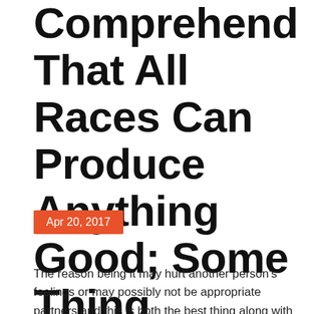Comprehend That All Races Can Produce Anything Good; Some Thing Breathtaking.
Apr 20, 2017
The reason being it may hurt another person's feelings or may possibly not be appropriate partners and this is both the best thing along with a poor thing. It's a tricky affair, because you have no idea what the reason that, you might not know finding them to start with. However,